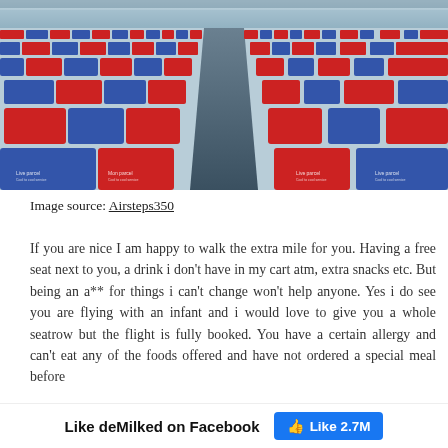[Figure (photo): Interior of an airplane cabin showing rows of red and blue seats receding into the distance, with AirAsia-style livery on the headrests, taken from rear of aircraft looking forward.]
Image source: Airsteps350
If you are nice I am happy to walk the extra mile for you. Having a free seat next to you, a drink i don't have in my cart atm, extra snacks etc. But being an a** for things i can't change won't help anyone. Yes i do see you are flying with an infant and i would love to give you a whole seatrow but the flight is fully booked. You have a certain allergy and can't eat any of the foods offered and have not ordered a special meal before
Like deMilked on Facebook  Like 2.7M